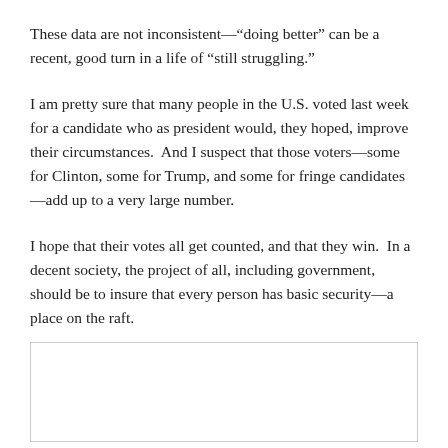These data are not inconsistent—“doing better” can be a recent, good turn in a life of “still struggling.”
I am pretty sure that many people in the U.S. voted last week for a candidate who as president would, they hoped, improve their circumstances.  And I suspect that those voters—some for Clinton, some for Trump, and some for fringe candidates—add up to a very large number.
I hope that their votes all get counted, and that they win.  In a decent society, the project of all, including government, should be to insure that every person has basic security—a place on the raft.
[Figure (other): Empty bordered box/comment area]